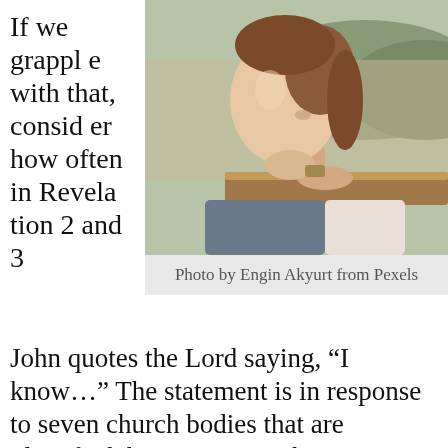If we grapple with that, consider how often in Revelation 2 and 3
[Figure (photo): Woman resting her chin on her hands on a railing, looking contemplatively to the side, outdoors with blurred background]
Photo by Engin Akyurt from Pexels
John quotes the Lord saying, “I know…” The statement is in response to seven church bodies that are identified, but represent Christian believers of all types through the ages. I think those two words, “I know,” were meant to both reassure and challenge the members of all those